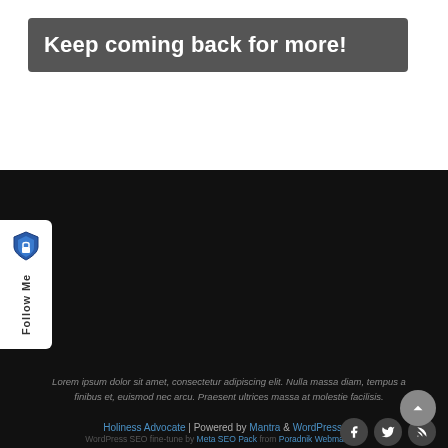Keep coming back for more!
[Figure (logo): Follow Me sidebar widget with shield/lock icon and vertical 'Follow Me' text on white background]
Lorem ipsum dolor sit amet, consectetur adipiscing elit. Nulla massa diam, tempus a finibus et, euismod nec arcu. Praesent ultrices massa at molestie facilisis.
Holiness Advocate | Powered by Mantra & WordPress.
WordPress SEO fine-tune by Meta SEO Pack from Poradnik Webmastera